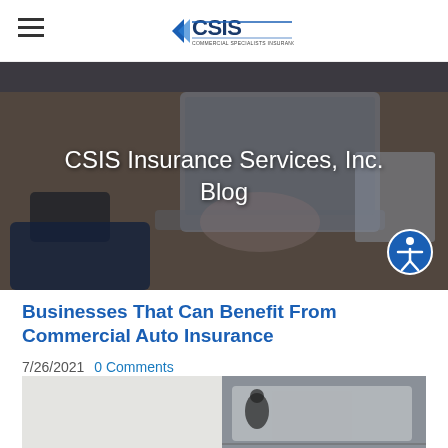CSIS - Commercial Specialists Insurance Services
[Figure (photo): Hero banner photo of person typing on laptop on a wooden desk with a smartphone and tablet nearby; overlaid with text 'CSIS Insurance Services, Inc. Blog']
CSIS Insurance Services, Inc. Blog
Businesses That Can Benefit From Commercial Auto Insurance
7/26/2021  0 Comments
[Figure (photo): Photo of delivery worker loading packages into a van, partial view showing bottom of the page]